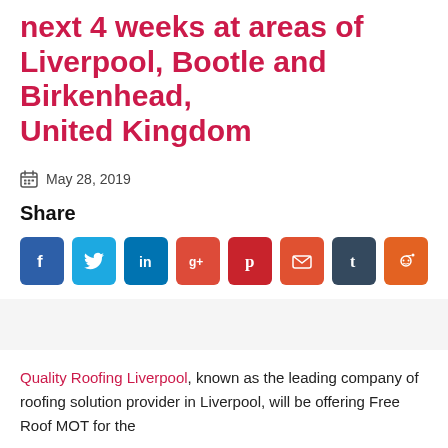next 4 weeks at areas of Liverpool, Bootle and Birkenhead, United Kingdom
May 28, 2019
Share
[Figure (other): Row of social media share buttons: Facebook (blue), Twitter (light blue), LinkedIn (dark blue), Google+ (red-orange), Pinterest (red), Email (orange-red), Tumblr (dark blue-grey), Reddit (orange)]
Quality Roofing Liverpool, known as the leading company of roofing solution provider in Liverpool, will be offering Free Roof MOT for the